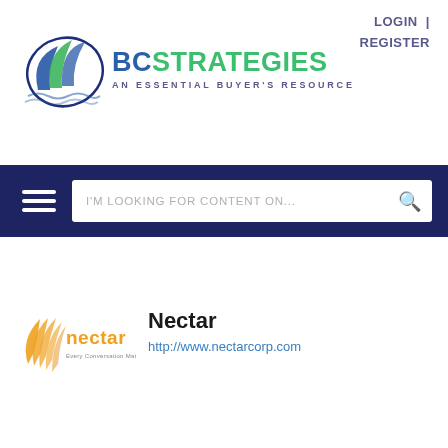LOGIN  |  REGISTER
[Figure (logo): BCStrategies logo with swirl graphic in blue and green, tagline AN ESSENTIAL BUYER'S RESOURCE]
[Figure (other): Navigation bar with hamburger menu icon and search box reading I'M LOOKING FOR CONTENT ON...]
[Figure (logo): Nectar logo - orange bird/feather icon with text 'nectar Every Conversation Matters']
Nectar
http://www.nectarcorp.com